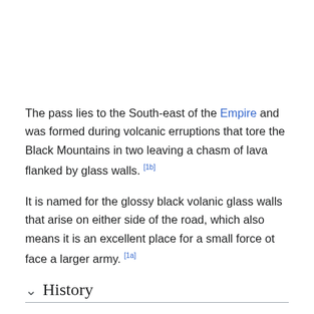The pass lies to the South-east of the Empire and was formed during volcanic erruptions that tore the Black Mountains in two leaving a chasm of lava flanked by glass walls. [1b]
It is named for the glossy black volanic glass walls that arise on either side of the road, which also means it is an excellent place for a small force ot face a larger army. [1a]
History
In about -500 IC (Imperial Calendar), the Dwarf Thane